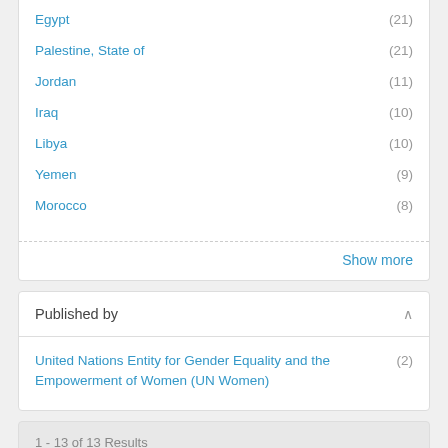Egypt (21)
Palestine, State of (21)
Jordan (11)
Iraq (10)
Libya (10)
Yemen (9)
Morocco (8)
Show more
Published by
United Nations Entity for Gender Equality and the Empowerment of Women (UN Women) (2)
1 - 13 of 13 Results